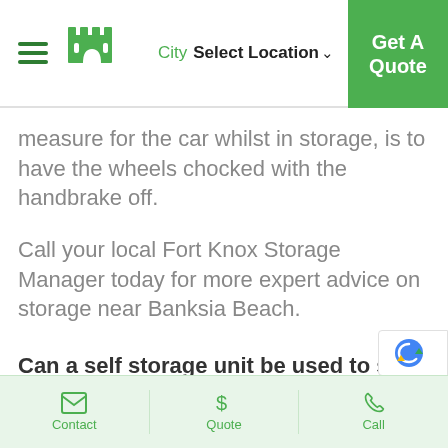City Select Location ▾  Get A Quote
measure for the car whilst in storage, is to have the wheels chocked with the handbrake off.
Call your local Fort Knox Storage Manager today for more expert advice on storage near Banksia Beach.
Can a self storage unit be used to store a car?
Yes, Fort Knox Storage has the ability
Contact  Quote  Call